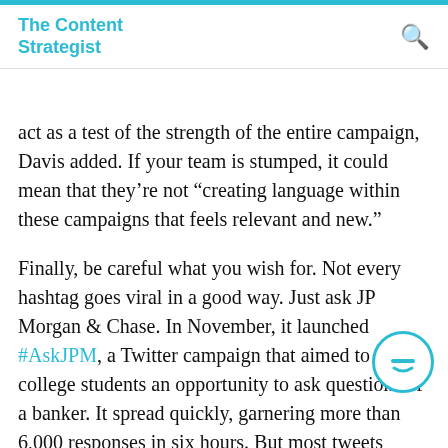The Content Strategist
act as a test of the strength of the entire campaign, Davis added. If your team is stumped, it could mean that they’re not “creating language within these campaigns that feels relevant and new.”
Finally, be careful what you wish for. Not every hashtag goes viral in a good way. Just ask JP Morgan & Chase. In November, it launched #AskJPM, a Twitter campaign that aimed to give college students an opportunity to ask questions of a banker. It spread quickly, garnering more than 6,000 responses in six hours. But most tweets snarked at the bank, which faces several criminal investigations. (Including some great ones by media folk.) Soon after, JP Morgan